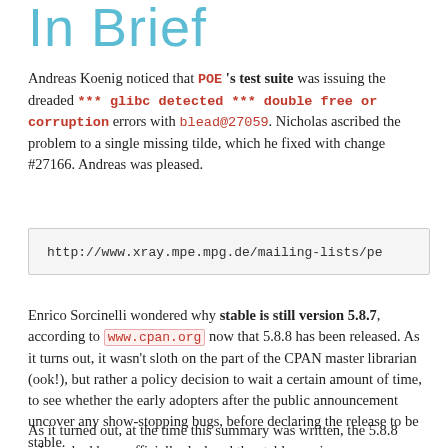In Brief
Andreas Koenig noticed that POE 's test suite was issuing the dreaded *** glibc detected *** double free or corruption errors with blead@27059. Nicholas ascribed the problem to a single missing tilde, which he fixed with change #27166. Andreas was pleased.
http://www.xray.mpe.mpg.de/mailing-lists/pe
Enrico Sorcinelli wondered why stable is still version 5.8.7, according to www.cpan.org now that 5.8.8 has been released. As it turns out, it wasn't sloth on the part of the CPAN master librarian (ook!), but rather a policy decision to wait a certain amount of time, to see whether the early adopters after the public announcement uncover any show-stopping bugs, before declaring the release to be stable.
As it turned out, at the time this summary was written, the 5.8.8 release had been officially declared the stable version.